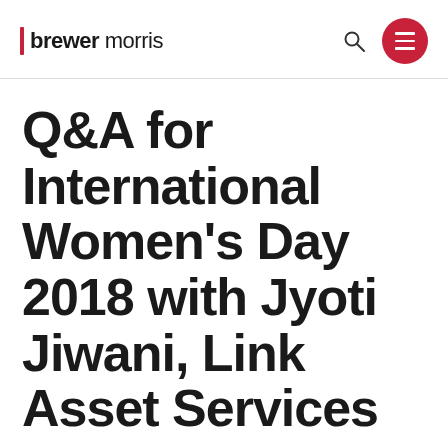brewer morris
Q&A for International Women's Day 2018 with Jyoti Jiwani, Link Asset Services
AUTHOR  Rachael Crocker  March 6, 2018